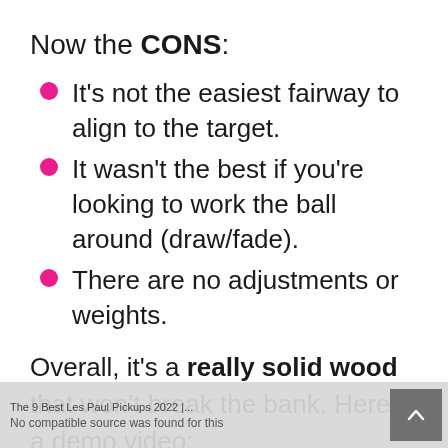Now the CONS:
It's not the easiest fairway to align to the target.
It wasn't the best if you're looking to work the ball around (draw/fade).
There are no adjustments or weights.
Overall, it's a really solid wood that won't break the bank. Here's a demo video:
[Figure (screenshot): Video player bar showing 'The 9 Best Les Paul Pickups 2022 |...' title and 'No compatible source was found for this' message with a scroll-up button]